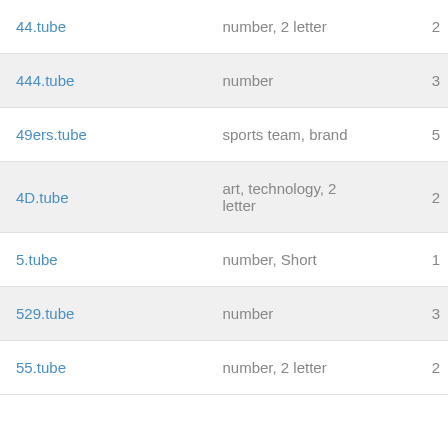| Domain | Category | Number |
| --- | --- | --- |
| 44.tube | number, 2 letter | 2 |
| 444.tube | number | 3 |
| 49ers.tube | sports team, brand | 5 |
| 4D.tube | art, technology, 2 letter | 2 |
| 5.tube | number, Short | 1 |
| 529.tube | number | 3 |
| 55.tube | number, 2 letter | 2 |